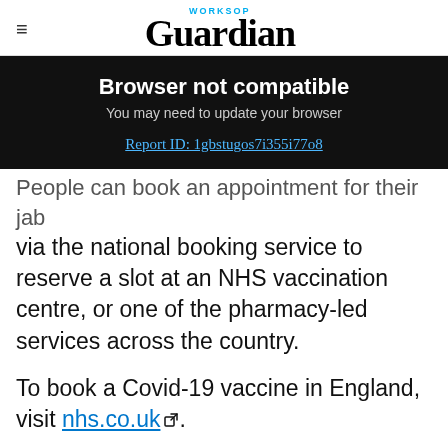Worksop Guardian
[Figure (screenshot): Browser not compatible banner with dark background. Title: 'Browser not compatible'. Subtitle: 'You may need to update your browser'. Link: 'Report ID: 1gbstugos7i355i77o8']
People can book an appointment for their jab via the national booking service to reserve a slot at an NHS vaccination centre, or one of the pharmacy-led services across the country.
To book a Covid-19 vaccine in England, visit nhs.co.uk.
You can only use this service if any of the